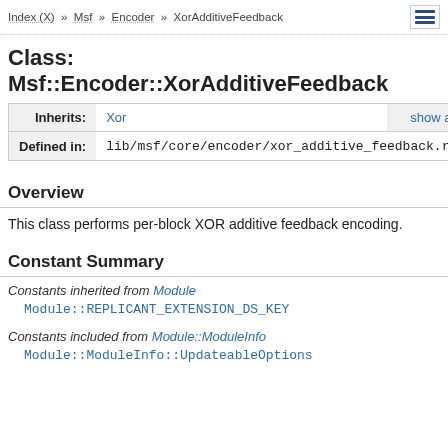Index (X) >> Msf >> Encoder >> XorAdditiveFeedback
Class: Msf::Encoder::XorAdditiveFeedback
| Inherits: | Xor | show all |
| --- | --- | --- |
| Defined in: | lib/msf/core/encoder/xor_additive_feedback.rb |  |
Overview
This class performs per-block XOR additive feedback encoding.
Constant Summary
Constants inherited from Module
Module::REPLICANT_EXTENSION_DS_KEY
Constants included from Module::ModuleInfo
Module::ModuleInfo::UpdateableOptions